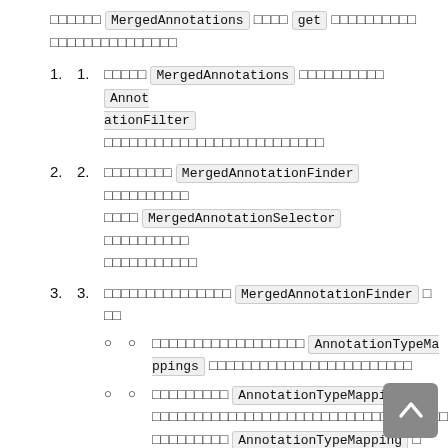□□□□□□ MergedAnnotations □□□□ get □□□□□□□□□□ □□□□□□□□□□□□□□□
□□□□□ MergedAnnotations □□□□□□□□□□ AnnotationFilter □□□□□□□□□□□□□□□□□□□□□□□□□□
□□□□□□□□ MergedAnnotationFinder □□□□□□□□□□ □□□□ MergedAnnotationSelector □□□□□□□□□□ □□□□□□□□□□□
□□□□□□□□□□□□□□ MergedAnnotationFinder □□ □□
□□□□□□□□□□□□□□□□□□ AnnotationTypeMappings □□□□□□□□□□□□□□□□□□□□□□□□
□□□□□□□□□ AnnotationTypeMappings □□ □□□□□□□□□□□□□□□□□□□□□□□□□□□□□□□□□□□□□□□□□□□□ □□□□□□□□□ AnnotationTypeMapping □
□ AnnotationTypeMapping □□□□□□□□□□